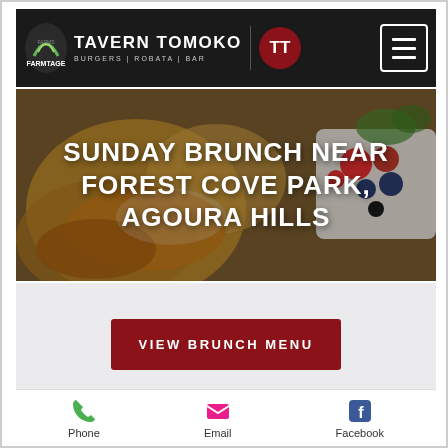[Figure (screenshot): Mobile website screenshot of Tavern Tomoko restaurant page showing navigation bar with logos, hero image of brunch food with text overlay, view brunch menu button, and bottom navigation bar with Phone, Email, Facebook icons.]
TAVERN TOMOKO BURGERS | ROBATA | BAR
SUNDAY BRUNCH NEAR FOREST COVE PARK, AGOURA HILLS
VIEW BRUNCH MENU
Sundays were made for enjoying delicious food & drinks, and relaxing before the week ahead. For many
Phone  Email  Facebook